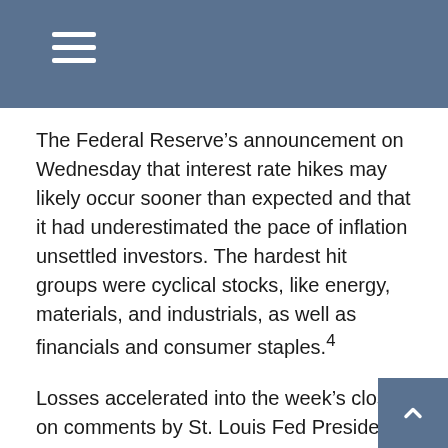The Federal Reserve’s announcement on Wednesday that interest rate hikes may likely occur sooner than expected and that it had underestimated the pace of inflation unsettled investors. The hardest hit groups were cyclical stocks, like energy, materials, and industrials, as well as financials and consumer staples.4
Losses accelerated into the week’s close on comments by St. Louis Fed President James Bullard that the first rate hike could be as soon as 2022.
The bond yield curve flattened, as short-term interest rates rose in anticipation of rising rates and longer rates declined, reflecting a view of an eventual